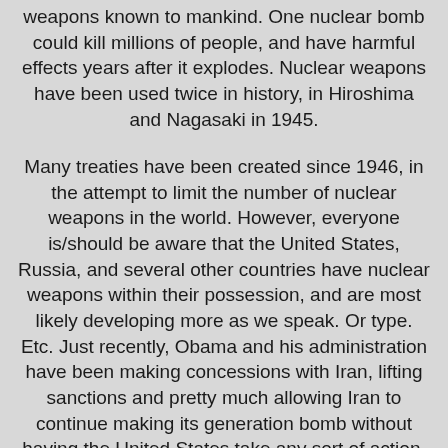weapons known to mankind. One nuclear bomb could kill millions of people, and have harmful effects years after it explodes. Nuclear weapons have been used twice in history, in Hiroshima and Nagasaki in 1945.
Many treaties have been created since 1946, in the attempt to limit the number of nuclear weapons in the world. However, everyone is/should be aware that the United States, Russia, and several other countries have nuclear weapons within their possession, and are most likely developing more as we speak. Or type. Etc. Just recently, Obama and his administration have been making concessions with Iran, lifting sanctions and pretty much allowing Iran to continue making its generation bomb without having the United States take any sort of action, direct or indirect. THIS article is a bit biased, but very informative on that particular matter.